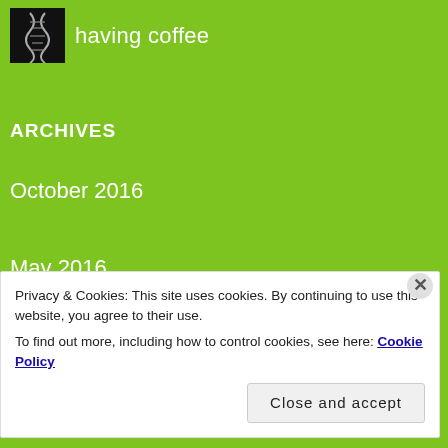[Figure (logo): DNA helix logo image in black square]
having coffee
ARCHIVES
October 2016
May 2016
April 2016
March 2016
Privacy & Cookies: This site uses cookies. By continuing to use this website, you agree to their use.
To find out more, including how to control cookies, see here: Cookie Policy
Close and accept